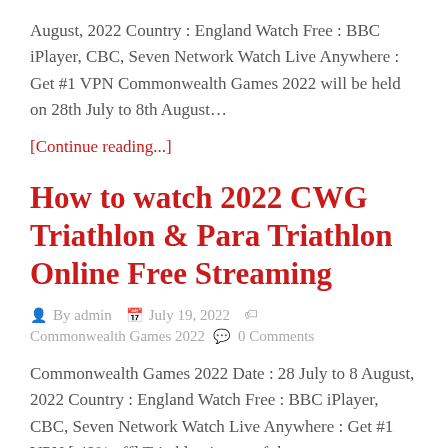August, 2022 Country : England Watch Free : BBC iPlayer, CBC, Seven Network Watch Live Anywhere : Get #1 VPN Commonwealth Games 2022 will be held on 28th July to 8th August…
[Continue reading...]
How to watch 2022 CWG Triathlon & Para Triathlon Online Free Streaming
By admin   July 19, 2022   Commonwealth Games 2022   0 Comments
Commonwealth Games 2022 Date : 28 July to 8 August, 2022 Country : England Watch Free : BBC iPlayer, CBC, Seven Network Watch Live Anywhere : Get #1 VPN [ 49% off] Triathlon is one of the games